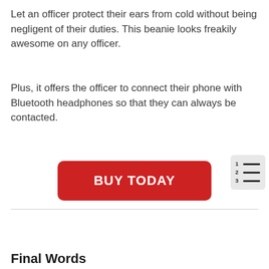Let an officer protect their ears from cold without being negligent of their duties. This beanie looks freakily awesome on any officer.
Plus, it offers the officer to connect their phone with Bluetooth headphones so that they can always be contacted.
[Figure (other): Red rounded rectangle button with white bold uppercase text reading 'BUY TODAY', and a table-of-contents icon in the top-right corner with numbered lines]
Final Words